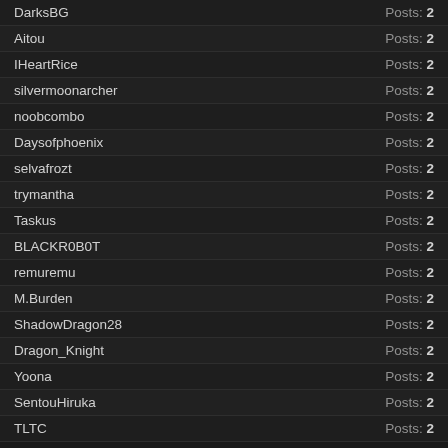DarksBG — Posts: 2
Aitou — Posts: 2
IHeartRice — Posts: 2
silvermoonarcher — Posts: 2
noobcombo — Posts: 2
Daysofphoenix — Posts: 2
selvafrozt — Posts: 2
trymantha — Posts: 2
Taskus — Posts: 2
BLACKR0B0T — Posts: 2
remuremu — Posts: 2
M.Burden — Posts: 2
ShadowDragon28 — Posts: 2
Dragon_Knight — Posts: 2
Yoona — Posts: 2
SentouHiruka — Posts: 2
TLTC — Posts: 2